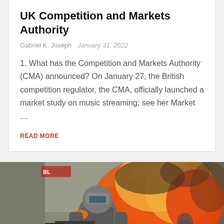UK Competition and Markets Authority
Gabriel K. Joseph   January 31, 2022
1. What has the Competition and Markets Authority (CMA) announced? On January 27, the British competition regulator, the CMA, officially launched a market study on music streaming; see her Market …
READ MORE
[Figure (photo): Screenshot from a video game showing an armored soldier/character with orange markings on their suit holding a weapon, with a large explosion of orange fire and smoke in the background. A red circular button with a right-pointing arrow is visible in the lower right.]